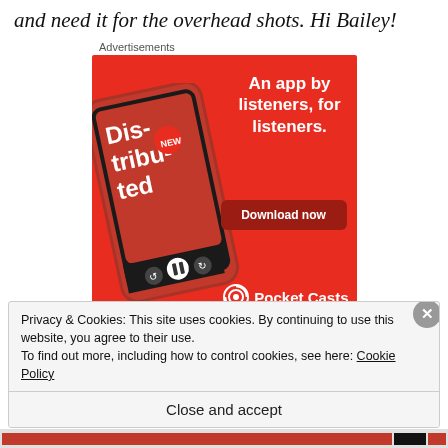and need it for the overhead shots. Hi Bailey!
Advertisements
[Figure (advertisement): Pocket Casts app advertisement on red background. Shows a smartphone displaying a podcast called 'Distributed'. Text reads: 'An app by listeners, for listeners.' with a 'Download now' button and Pocket Casts logo at the bottom.]
Privacy & Cookies: This site uses cookies. By continuing to use this website, you agree to their use.
To find out more, including how to control cookies, see here: Cookie Policy
Close and accept